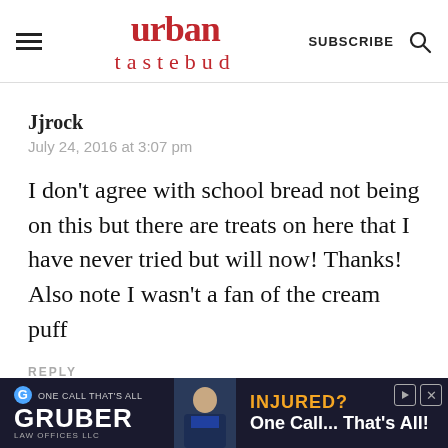urban tastebud
Jjrock
July 24, 2016 at 3:07 pm
I don’t agree with school bread not being on this but there are treats on here that I have never tried but will now! Thanks! Also note I wasn’t a fan of the cream puff
REPLY
[Figure (screenshot): Advertisement banner for Gruber Law Offices LLC featuring 'ONE CALL THAT'S ALL', 'GRUBER' in large text, a photo of a man in a suit, and the text 'INJURED? One Call... That's All!' on a dark navy background.]